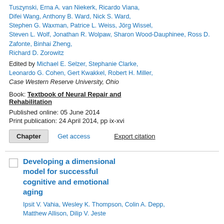Tuszynski, Erna A. van Niekerk, Ricardo Viana, Difei Wang, Anthony B. Ward, Nick S. Ward, Stephen G. Waxman, Patrice L. Weiss, Jörg Wissel, Steven L. Wolf, Jonathan R. Wolpaw, Sharon Wood-Dauphinee, Ross D. Zafonte, Binhai Zheng, Richard D. Zorowitz
Edited by Michael E. Selzer, Stephanie Clarke, Leonardo G. Cohen, Gert Kwakkel, Robert H. Miller, Case Western Reserve University, Ohio
Book: Textbook of Neural Repair and Rehabilitation
Published online: 05 June 2014
Print publication: 24 April 2014, pp ix-xvi
Chapter | Get access | Export citation
Developing a dimensional model for successful cognitive and emotional aging
Ipsit V. Vahia, Wesley K. Thompson, Colin A. Depp, Matthew Allison, Dilip V. Jeste